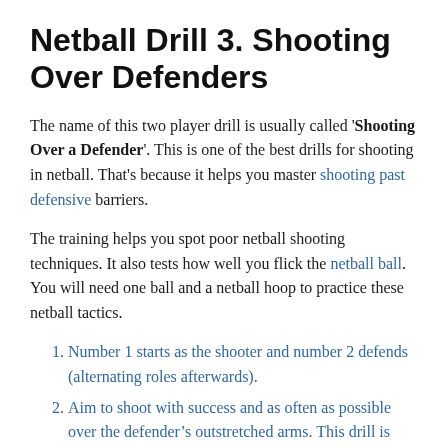Netball Drill 3. Shooting Over Defenders
The name of this two player drill is usually called 'Shooting Over a Defender'. This is one of the best drills for shooting in netball. That's because it helps you master shooting past defensive barriers.
The training helps you spot poor netball shooting techniques. It also tests how well you flick the netball ball. You will need one ball and a netball hoop to practice these netball tactics.
Number 1 starts as the shooter and number 2 defends (alternating roles afterwards).
Aim to shoot with success and as often as possible over the defender’s outstretched arms. This drill is good netball shooting practice for experiencing defensive pressure.